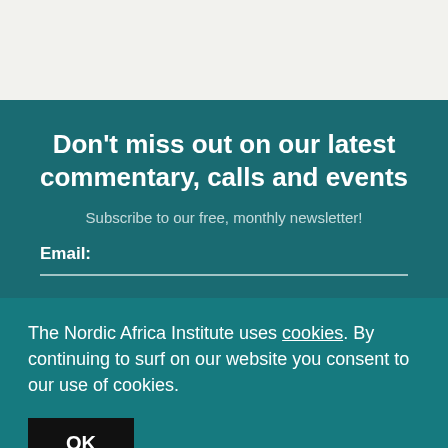Don't miss out on our latest commentary, calls and events
Subscribe to our free, monthly newsletter!
Email:
The Nordic Africa Institute uses cookies. By continuing to surf on our website you consent to our use of cookies.
OK